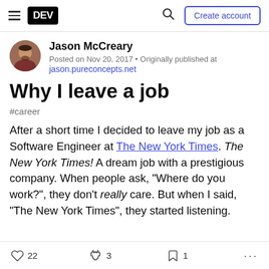DEV — Create account (navigation bar)
Jason McCreary
Posted on Nov 20, 2017 • Originally published at jason.pureconcepts.net
Why I leave a job
#career
After a short time I decided to leave my job as a Software Engineer at The New York Times. The New York Times! A dream job with a prestigious company. When people ask, "Where do you work?", they don't really care. But when I said, "The New York Times", they started listening.
22 likes  3 unicorns  1 bookmark  more options